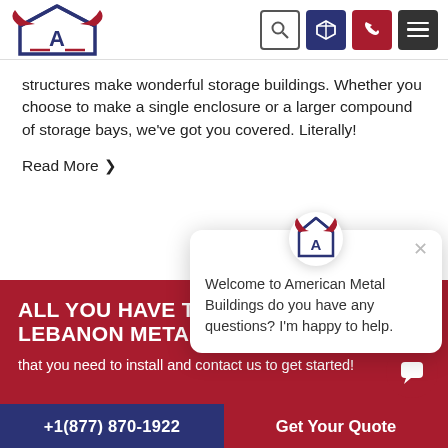[Figure (logo): American Metal Buildings logo with eagle/building icon in red, white, and navy blue]
structures make wonderful storage buildings. Whether you choose to make a single enclosure or a larger compound of storage bays, we've got you covered. Literally!
Read More ❯
ALL YOU HAVE TO ... LEBANON METAL ...
that you need to install and contact us to get started!
[Figure (logo): American Metal Buildings chat popup with logo, close button, and message: Welcome to American Metal Buildings do you have any questions? I'm happy to help.]
+1(877) 870-1922   Get Your Quote